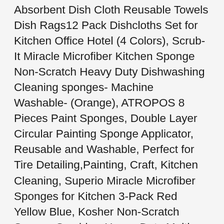Absorbent Dish Cloth Reusable Towels Dish Rags12 Pack Dishcloths Set for Kitchen Office Hotel (4 Colors), Scrub-It Miracle Microfiber Kitchen Sponge Non-Scratch Heavy Duty Dishwashing Cleaning sponges- Machine Washable- (Orange), ATROPOS 8 Pieces Paint Sponges, Double Layer Circular Painting Sponge Applicator, Reusable and Washable, Perfect for Tire Detailing,Painting, Craft, Kitchen Cleaning, Superio Miracle Microfiber Sponges for Kitchen 3-Pack Red Yellow Blue, Kosher Non-Scratch Sponge Scrubber Heavy Duty Multi-Purpose Cleaning of Dishes, Pots, Pans and Counter tops, Machine Washable, Loisuzn Washable and Reusable Unisex Anti-dust Earloop Sponge Bandana Protective Face Mouth Shield - 4 Pack, Wsnyy Swedish Dishcloths, 10 Pcs Reusable Cellulose Sponge Cloth Kitchen Cleaning Cloth, Eco-Friendly Quick Dry Kitchen Dish Cloths Machine Washable No Odor Cellulose Dish Sponge Cloths(5 Styles), Paperless Kitchen Cleaning Cloth – Environmentally Friendly Cellulose Sponge Cloth and Paper Towel Alternative is Washable, Reusable and Biodegradable for